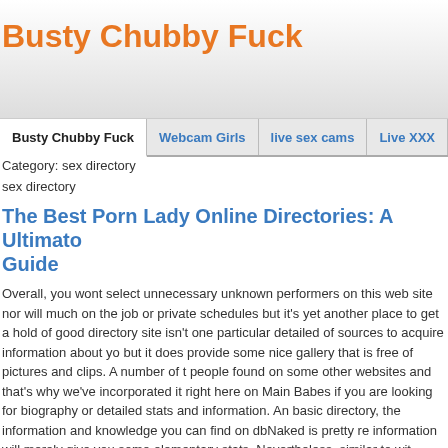Busty Chubby Fuck
Busty Chubby Fuck | Webcam Girls | live sex cams | Live XXX
Category: sex directory
sex directory
The Best Porn Lady Online Directories: A Ultimate Guide
Overall, you wont select unnecessary unknown performers on this web site nor will much on the job or private schedules but it’s yet another place to get a hold of good directory site isn’t one particular detailed of sources to acquire information about yo but it does provide some nice gallery that is free of pictures and clips. A number of t people found on some other websites and that’s why we’ve incorporated it right here on Main Babes if you are looking for biography or detailed stats and information. An basic directory, the information and knowledge you can find on dbNaked is pretty re information will merely give you some elementary stats. Nevertheless, similar to wit some pretty content that is good and their list is actually thorough. 1,300 person mo Again, another way to discover some content that is free which includes easy basic those in the above list, all the porn site directory that is main internet hosting sites s movie stars you will find on their website. We’ve chose the utmost effective four por several index of parent directory xxx the most preferred adult tube sites.